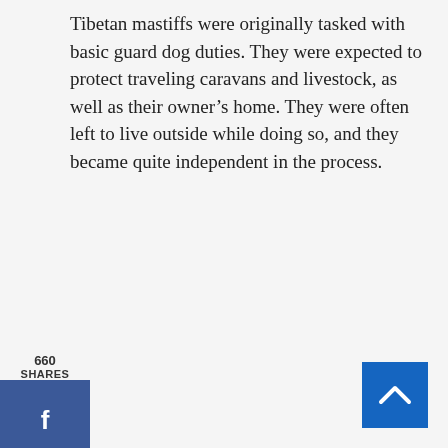Tibetan mastiffs were originally tasked with basic guard dog duties. They were expected to protect traveling caravans and livestock, as well as their owner's home. They were often left to live outside while doing so, and they became quite independent in the process.
[Figure (infographic): Social sharing sidebar with share count (660 SHARES) and buttons for Facebook (f), Twitter (bird icon), and Pinterest (P)]
[Figure (other): Back-to-top button (blue square with upward chevron arrow) in the bottom right corner]